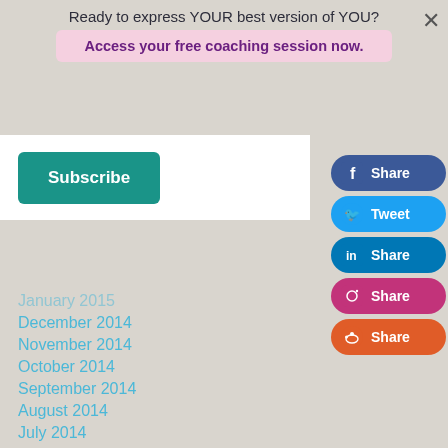Ready to express YOUR best version of YOU?
Access your free coaching session now.
Subscribe
[Figure (other): Facebook Share button]
[Figure (other): Twitter Tweet button]
[Figure (other): LinkedIn Share button]
[Figure (other): Instagram Share button]
[Figure (other): Reddit Share button]
January 2015 (partially visible)
December 2014
November 2014
October 2014
September 2014
August 2014
July 2014
June 2014
May 2014
April 2014
March 2014
February 2014
January 2014
December 2013
November 2013